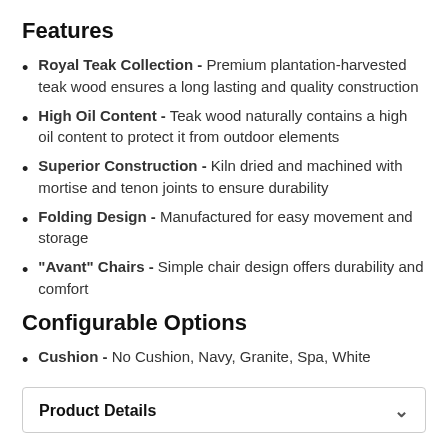Features
Royal Teak Collection - Premium plantation-harvested teak wood ensures a long lasting and quality construction
High Oil Content - Teak wood naturally contains a high oil content to protect it from outdoor elements
Superior Construction - Kiln dried and machined with mortise and tenon joints to ensure durability
Folding Design - Manufactured for easy movement and storage
"Avant" Chairs - Simple chair design offers durability and comfort
Configurable Options
Cushion - No Cushion, Navy, Granite, Spa, White
Product Details